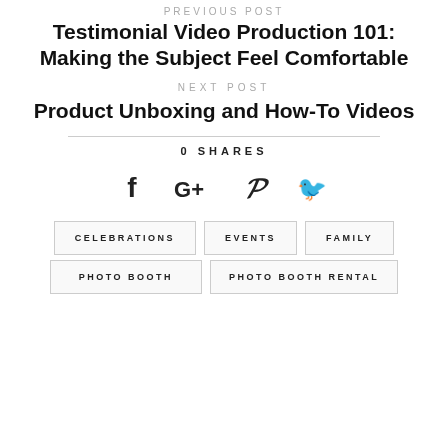PREVIOUS POST
Testimonial Video Production 101: Making the Subject Feel Comfortable
NEXT POST
Product Unboxing and How-To Videos
0 SHARES
[Figure (infographic): Social share icons: Facebook (f), Google+ (G+), Pinterest (p), Twitter bird]
CELEBRATIONS
EVENTS
FAMILY
PHOTO BOOTH
PHOTO BOOTH RENTAL